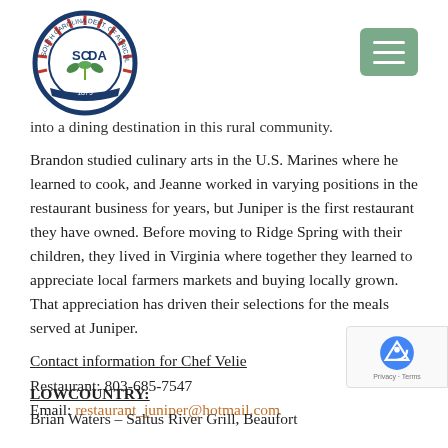[Figure (logo): SCDA (South Carolina Department of Agriculture) circular seal logo with plant graphic]
into a dining destination in this rural community.
Brandon studied culinary arts in the U.S. Marines where he learned to cook, and Jeanne worked in varying positions in the restaurant business for years, but Juniper is the first restaurant they have owned. Before moving to Ridge Spring with their children, they lived in Virginia where together they learned to appreciate local farmers markets and buying locally grown. That appreciation has driven their selections for the meals served at Juniper.
Contact information for Chef Velie
Restaurant: 803-685-7547
Email: restaurant_juniper@hotmail.com
LOWCOUNTRY:
Brian Waters – Saltus River Grill, Beaufort